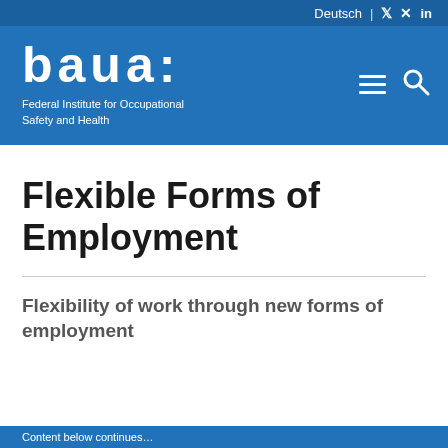Deutsch | Twitter Xing LinkedIn
[Figure (logo): baua: Federal Institute for Occupational Safety and Health logo on blue background with hamburger menu and search icons]
Flexible Forms of Employment
Flexibility of work through new forms of employment
Content continues below